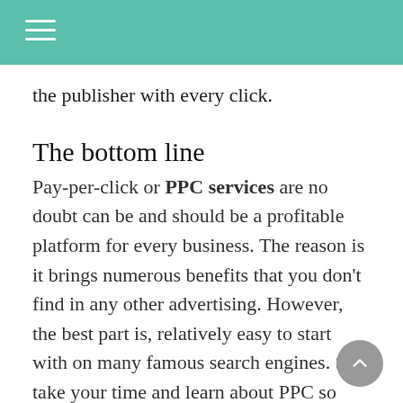the publisher with every click.
The bottom line
Pay-per-click or PPC services are no doubt can be and should be a profitable platform for every business. The reason is it brings numerous benefits that you don't find in any other advertising. However, the best part is, relatively easy to start with on many famous search engines. So, take your time and learn about PPC so that your business will touch new heights.